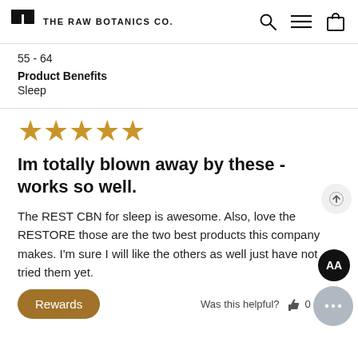THE RAW BOTANICS CO.
55 - 64
Product Benefits
Sleep
[Figure (other): Five gold star rating icons]
Im totally blown away by these - works so well.
The REST CBN for sleep is awesome. Also, love the RESTORE those are the two best products this company makes. I'm sure I will like the others as well just have not tried them yet.
Was this helpful? 👍 0  0